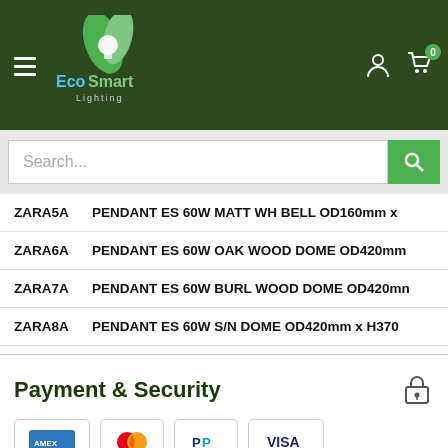[Figure (logo): EcoSmart Lighting logo with green leaf and light bulb icon]
Search...
ZARA5A   PENDANT ES 60W MATT WH BELL OD160mm x
ZARA6A   PENDANT ES 60W OAK WOOD DOME OD420mm
ZARA7A   PENDANT ES 60W BURL WOOD DOME OD420mm
ZARA8A   PENDANT ES 60W S/N DOME OD420mm x H370
Payment & Security
[Figure (infographic): Payment method icons: American Express, Mastercard, PayPal, Visa]